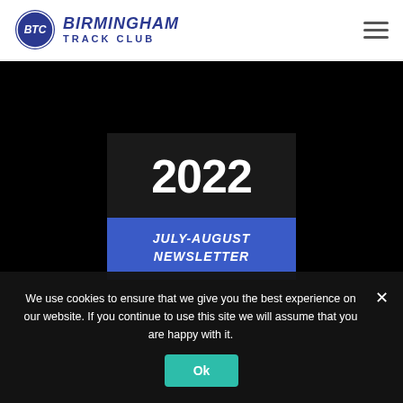Birmingham Track Club
[Figure (logo): Birmingham Track Club circular logo with BTC letters, blue color]
2022 JULY-AUGUST NEWSLETTER
We use cookies to ensure that we give you the best experience on our website. If you continue to use this site we will assume that you are happy with it.